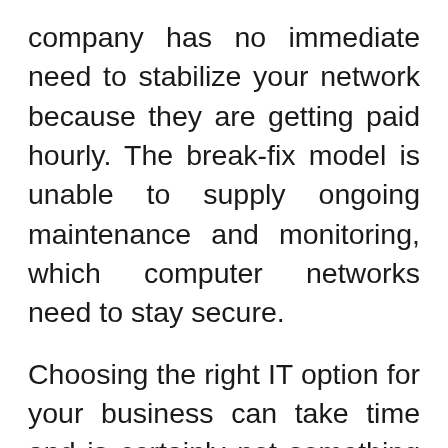company has no immediate need to stabilize your network because they are getting paid hourly. The break-fix model is unable to supply ongoing maintenance and monitoring, which computer networks need to stay secure.
Choosing the right IT option for your business can take time and is certainly not something you want to rush into. Take your time and do your research to find the best option to fit your needs. If you're unsure of where to even begin – or need some help navigating the sometimes confusing world of IT support –